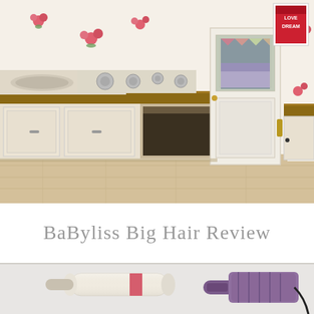[Figure (photo): Interior photo of a cozy kitchen/caravan with floral wallpaper featuring pink roses on white background. White cabinets with wooden countertops, a gas hob/stove on the left, an open oven below, and a white panelled door in the center revealing a bedroom beyond. A framed 'LOVE DREAM' print is visible in the upper right corner. The floor is light wood laminate.]
BaByliss Big Hair Review
[Figure (photo): Photo showing two hair styling tools on a light grey background: on the left a cylindrical hair curler/waver tool in cream/white color with a pink stripe, and on the right a BaByliss Big Hair rotating hot brush/barrel in purple/mauve color with a black cord.]